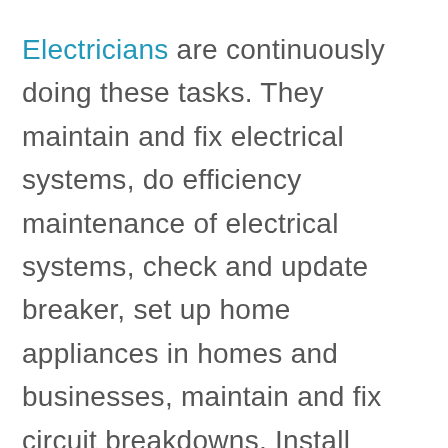Electricians are continuously doing these tasks. They maintain and fix electrical systems, do efficiency maintenance of electrical systems, check and update breaker, set up home appliances in homes and businesses, maintain and fix circuit breakdowns, Install efficient systems and equipment, work with specialists and engineers, know electrical systems, they can determine and diagnose all electrical problems, improve connection, they work